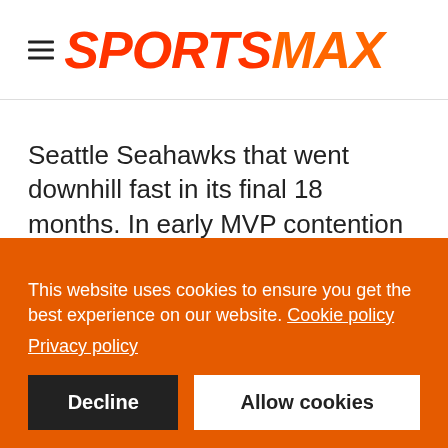SPORTSMAX
Seattle Seahawks that went downhill fast in its final 18 months. In early MVP contention after a 5-0 start to the 2020 season, Wilson went 13-12 over the rest of his
This website uses cookies to ensure you get the best experience on our website. Cookie policy
Privacy policy
Decline  Allow cookies